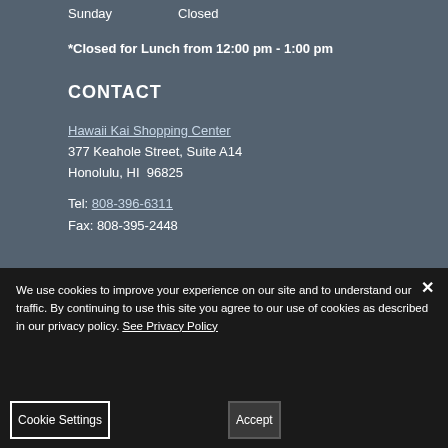Sunday   Closed
*Closed for Lunch from 12:00 pm - 1:00 pm
CONTACT
Hawaii Kai Shopping Center
377 Keahole Street, Suite A14
Honolulu, HI  96825
Tel: 808-396-6311
Fax: 808-395-2448
We use cookies to improve your experience on our site and to understand our traffic. By continuing to use this site you agree to our use of cookies as described in our privacy policy. See Privacy Policy
Cookie Settings
Accept